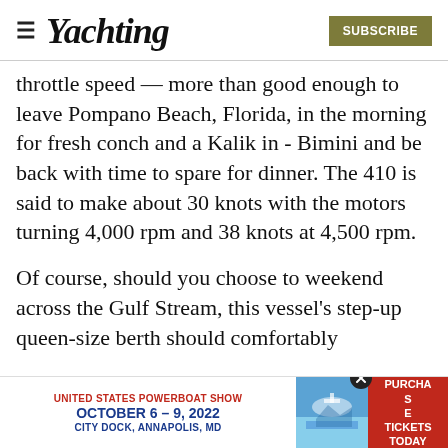≡ Yachting | SUBSCRIBE
throttle speed — more than good enough to leave Pompano Beach, Florida, in the morning for fresh conch and a Kalik in - Bimini and be back with time to spare for dinner. The 410 is said to make about 30 knots with the motors turning 4,000 rpm and 38 knots at 4,500 rpm.
Of course, should you choose to weekend across the Gulf Stream, this vessel's step-up queen-size berth should comfortably accc... high...
[Figure (other): Advertisement banner for United States Powerboat Show, October 6-9, 2022, City Dock, Annapolis, MD. Includes a Purchase Tickets Today button.]